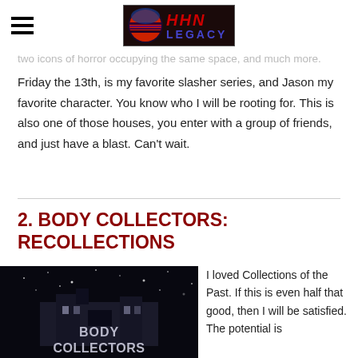HHN Legacy (logo)
two icons of horror occupying the same space, and much more.
Friday the 13th, is my favorite slasher series, and Jason my favorite character. You know who I will be rooting for. This is also one of those houses, you enter with a group of friends, and just have a blast. Can't wait.
2. BODY COLLECTORS: RECOLLECTIONS
[Figure (photo): Dark promotional image for Body Collectors haunted house showing a building with the text BODY COLLECTORS overlaid]
I loved Collections of the Past. If this is even half that good, then I will be satisfied. The potential is